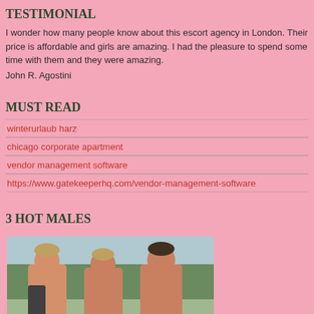TESTIMONIAL
I wonder how many people know about this escort agency in London. Their price is affordable and girls are amazing. I had the pleasure to spend some time with them and they were amazing.
John R. Agostini
MUST READ
winterurlaub harz
chicago corporate apartment
vendor management software
https://www.gatekeeperhq.com/vendor-management-software
3 HOT MALES
[Figure (photo): Three shirtless young men standing together outdoors with trees in the background]